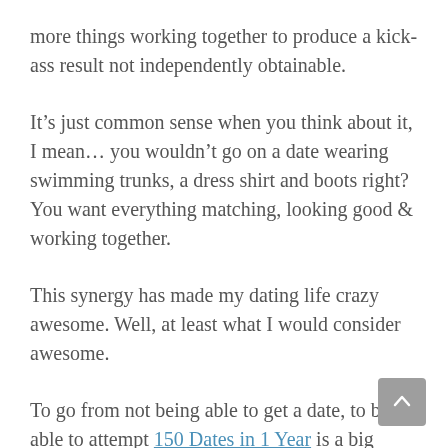more things working together to produce a kick-ass result not independently obtainable.
It’s just common sense when you think about it, I mean… you wouldn’t go on a date wearing swimming trunks, a dress shirt and boots right? You want everything matching, looking good & working together.
This synergy has made my dating life crazy awesome. Well, at least what I would consider awesome.
To go from not being able to get a date, to being able to attempt 150 Dates in 1 Year is a big difference.